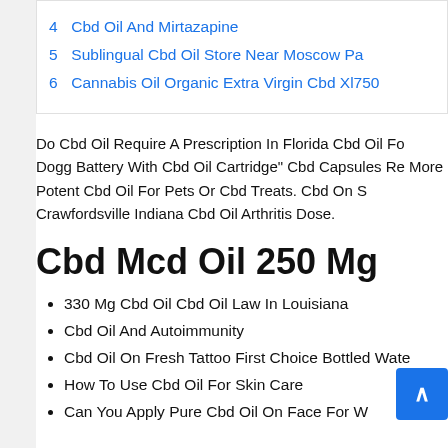4 Cbd Oil And Mirtazapine
5 Sublingual Cbd Oil Store Near Moscow Pa
6 Cannabis Oil Organic Extra Virgin Cbd Xl750
Do Cbd Oil Require A Prescription In Florida Cbd Oil Fo Dogg Battery With Cbd Oil Cartridge" Cbd Capsules Re More Potent Cbd Oil For Pets Or Cbd Treats. Cbd On S Crawfordsville Indiana Cbd Oil Arthritis Dose.
Cbd Mcd Oil 250 Mg
330 Mg Cbd Oil Cbd Oil Law In Louisiana
Cbd Oil And Autoimmunity
Cbd Oil On Fresh Tattoo First Choice Bottled Wate
How To Use Cbd Oil For Skin Care
Can You Apply Pure Cbd Oil On Face For W